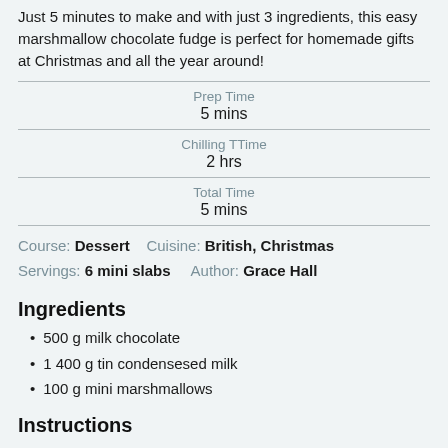Just 5 minutes to make and with just 3 ingredients, this easy marshmallow chocolate fudge is perfect for homemade gifts at Christmas and all the year around!
| Prep Time | 5 mins |
| Chilling TTime | 2 hrs |
| Total Time | 5 mins |
Course: Dessert    Cuisine: British, Christmas
Servings: 6 mini slabs    Author: Grace Hall
Ingredients
500 g milk chocolate
1 400 g tin condensesed milk
100 g mini marshmallows
Instructions
Line a small rectangular baking tray or cake tin with baking